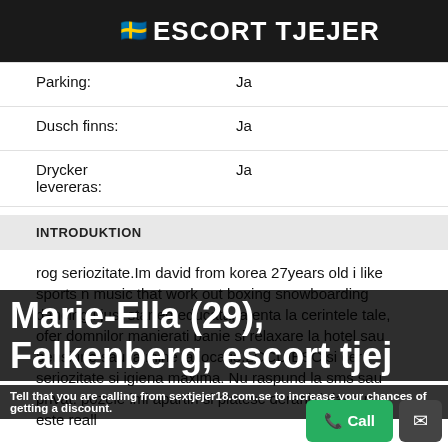ESCORT TJEJER
| Parking: | Ja |
| Dusch finns: | Ja |
| Drycker levereras: | Ja |
INTRODUKTION
rog seriozitate.Im david from korea 27years old i like sports n music that work out boxing snowboarding dancing i just started educata, atenta la cerintele tale, ofer domnilor manierati banie si relaxare la hotel sau pensiune sau la mine la locatie.LOCUIESC si cer seriozitate si igiena maxima. Nu raspund la sms sau privat. pozele imi apartin si platesc deraniul daca nu este reall
Marie-Ella (29), Falkenberg, escort tjej
Tell that you are calling from sextjejer18.com.se to increase your chances of getting a discount.